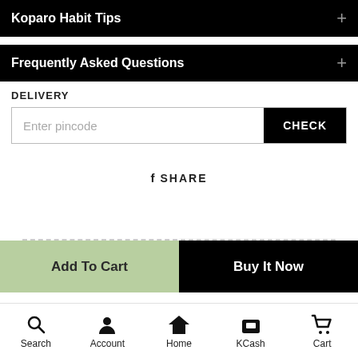Koparo Habit Tips
Frequently Asked Questions
DELIVERY
Enter pincode
CHECK
f SHARE
Add To Cart
Buy It Now
Search  Account  Home  KCash  Cart